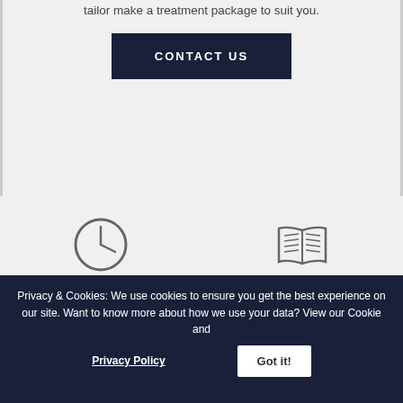tailor make a treatment package to suit you.
CONTACT US
[Figure (illustration): Clock icon representing opening times]
SEE OUR OPENING TIMES
[Figure (illustration): Open book icon representing book an appointment]
BOOK AN APPOINTMENT
[Figure (illustration): Heart icon]
[Figure (illustration): Award/medal ribbon icon]
Privacy & Cookies: We use cookies to ensure you get the best experience on our site. Want to know more about how we use your data? View our Cookie and Privacy Policy
Got it!